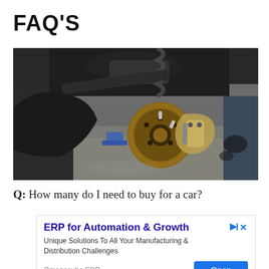FAQ'S
[Figure (photo): Underside of a car showing a brake rotor and caliper with suspension components visible, car lifted on a jack, concrete floor visible below]
Q: How many do I need to buy for a car?
[Figure (infographic): Advertisement banner for ERP for Automation & Growth by Omegacube ERP with Open button]